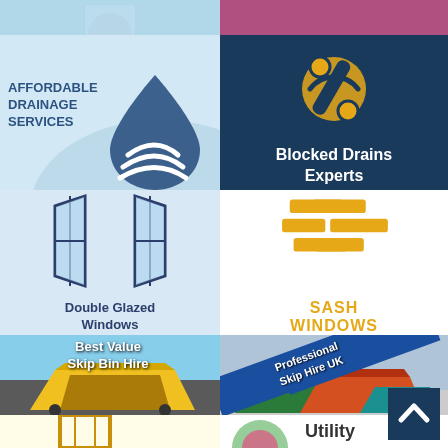[Figure (illustration): Partial top strip - left side light blue, right side pink/mauve]
[Figure (illustration): Affordable Drainage Services logo with water drop icon on light blue background]
[Figure (illustration): Blocked Drains Experts logo with golden wrench/spanner icon on dark navy background]
[Figure (illustration): Double Glazed Windows logo with window icon on light blue background]
[Figure (illustration): Sash Windows logo with stacked brick-like icon in gold on white background]
[Figure (photo): Best Value Skip Bin Hire - photo of yellow skip bin]
[Figure (photo): Professional Skip Hire UK - photo of green and colourful skip bins]
[Figure (illustration): UPVC Windows partial logo at bottom left on cream background]
[Figure (illustration): Utility partial logo at bottom right on white background]